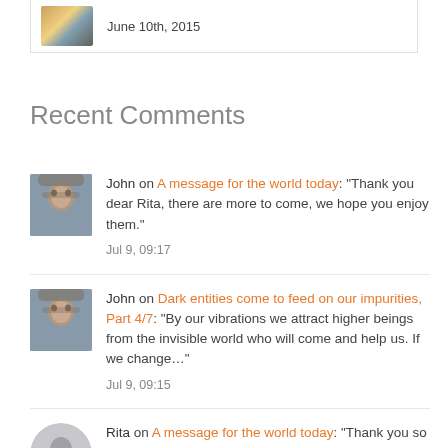June 10th, 2015
Recent Comments
John on A message for the world today: "Thank you dear Rita, there are more to come, we hope you enjoy them." Jul 9, 09:17
John on Dark entities come to feed on our impurities, Part 4/7: "By our vibrations we attract higher beings from the invisible world who will come and help us. If we change…" Jul 9, 09:15
Rita on A message for the world today: "Thank you so much for this insight" Jul 3, 07:08